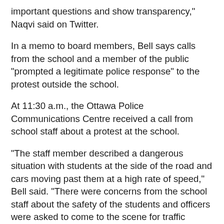important questions and show transparency," Naqvi said on Twitter.
In a memo to board members, Bell says calls from the school and a member of the public "prompted a legitimate police response" to the protest outside the school.
At 11:30 a.m., the Ottawa Police Communications Centre received a call from school staff about a protest at the school.
"The staff member described a dangerous situation with students at the side of the road and cars moving past them at a high rate of speed," Bell said. "There were concerns from the school staff about the safety of the students and officers were asked to come to the scene for traffic management. This call prompted a police response."
Bell said a member of the public called at 11:40 a.m.